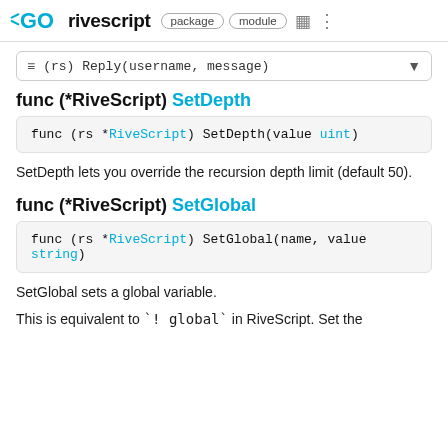GO rivescript package module
≡ (rs) Reply(username, message)
func (*RiveScript) SetDepth
func (rs *RiveScript) SetDepth(value uint)
SetDepth lets you override the recursion depth limit (default 50).
func (*RiveScript) SetGlobal
func (rs *RiveScript) SetGlobal(name, value string)
SetGlobal sets a global variable.
This is equivalent to `! global` in RiveScript. Set the